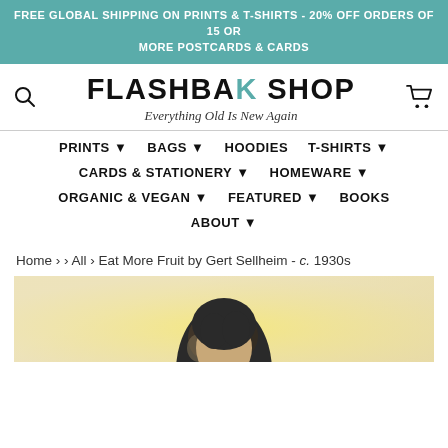FREE GLOBAL SHIPPING ON PRINTS & T-SHIRTS - 20% OFF ORDERS OF 15 OR MORE POSTCARDS & CARDS
FLASHBAK SHOP — Everything Old Is New Again
PRINTS ▼  BAGS ▼  HOODIES  T-SHIRTS ▼  CARDS & STATIONERY ▼  HOMEWARE ▼  ORGANIC & VEGAN ▼  FEATURED ▼  BOOKS  ABOUT ▼
Home › › All › Eat More Fruit by Gert Sellheim - c. 1930s
[Figure (photo): Partial view of a vintage poster showing a woman with dark hair against a yellow/cream background, part of 'Eat More Fruit by Gert Sellheim c. 1930s']